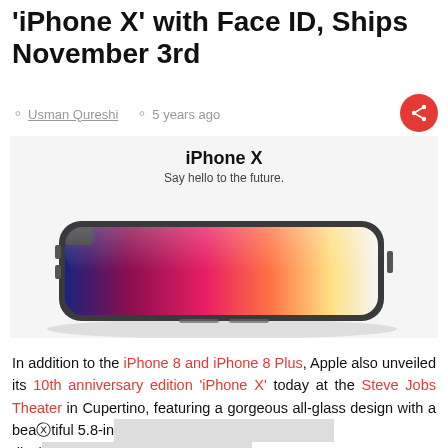'iPhone X' with Face ID, Ships November 3rd
Usman Qureshi   5 years ago
[Figure (photo): iPhone X promotional image showing the phone lying flat with a colorful OLED display showing red/blue/orange gradient, along with the text 'iPhone X - Say hello to the future.']
In addition to the iPhone 8 and iPhone 8 Plus, Apple also unveiled its 10th anniversary edition 'iPhone X' today at the Steve Jobs Theater in Cupertino, featuring a gorgeous all-glass design with a beautiful 5.8-in [OLED Super Retina] display [...] Face ID. Tr...